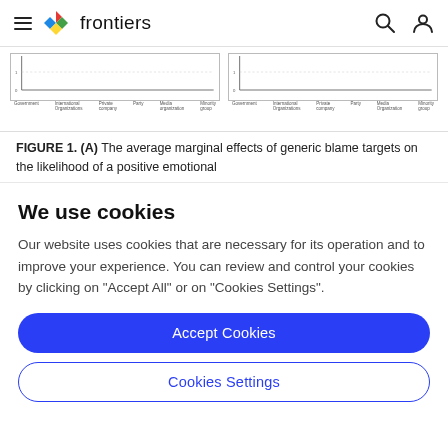frontiers
[Figure (other): Partial figure showing two bar/line charts with x-axis labels: Government, International Organizations, Private company, Party, Media organization, Minority group]
FIGURE 1. (A) The average marginal effects of generic blame targets on the likelihood of a positive emotional
We use cookies
Our website uses cookies that are necessary for its operation and to improve your experience. You can review and control your cookies by clicking on "Accept All" or on "Cookies Settings".
Accept Cookies
Cookies Settings